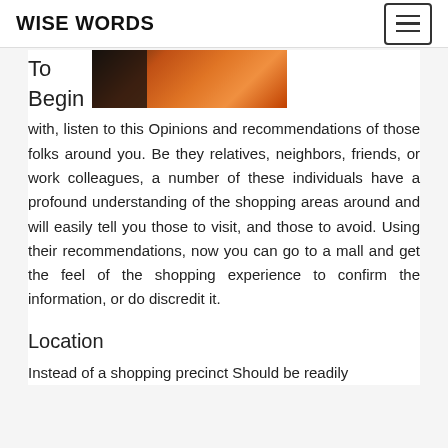WISE WORDS
[Figure (photo): A photo showing a person in dark clothing against an orange background, partially visible at the top of the page.]
To Begin with, listen to this Opinions and recommendations of those folks around you. Be they relatives, neighbors, friends, or work colleagues, a number of these individuals have a profound understanding of the shopping areas around and will easily tell you those to visit, and those to avoid. Using their recommendations, now you can go to a mall and get the feel of the shopping experience to confirm the information, or do discredit it.
Location
Instead of a shopping precinct Should be readily